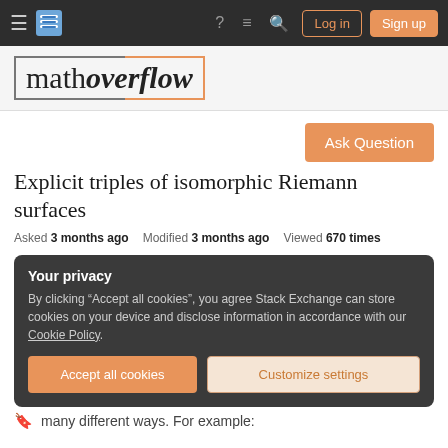MathOverflow navigation bar with hamburger, logo, help, chat, search, Log in, Sign up
[Figure (logo): MathOverflow logo with math in regular serif and overflow in bold italic, framed by orange and grey border]
Ask Question
Explicit triples of isomorphic Riemann surfaces
Asked 3 months ago   Modified 3 months ago   Viewed 670 times
Your privacy
By clicking "Accept all cookies", you agree Stack Exchange can store cookies on your device and disclose information in accordance with our Cookie Policy.
Accept all cookies   Customize settings
many different ways. For example: